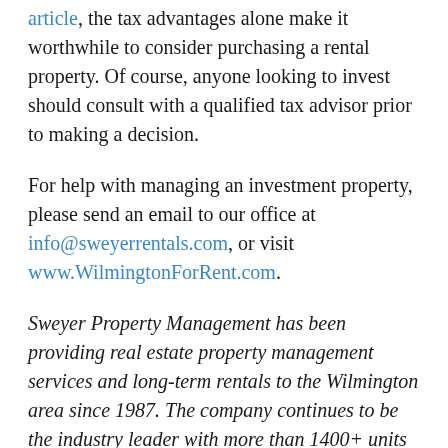article, the tax advantages alone make it worthwhile to consider purchasing a rental property. Of course, anyone looking to invest should consult with a qualified tax advisor prior to making a decision.
For help with managing an investment property, please send an email to our office at info@sweyerrentals.com, or visit www.WilmingtonForRent.com.
Sweyer Property Management has been providing real estate property management services and long-term rentals to the Wilmington area since 1987. The company continues to be the industry leader with more than 1400+ units and more than 20 employees.